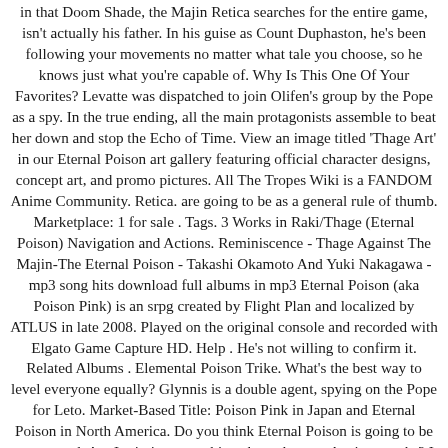in that Doom Shade, the Majin Retica searches for the entire game, isn't actually his father. In his guise as Count Duphaston, he's been following your movements no matter what tale you choose, so he knows just what you're capable of. Why Is This One Of Your Favorites? Levatte was dispatched to join Olifen's group by the Pope as a spy. In the true ending, all the main protagonists assemble to beat her down and stop the Echo of Time. View an image titled 'Thage Art' in our Eternal Poison art gallery featuring official character designs, concept art, and promo pictures. All The Tropes Wiki is a FANDOM Anime Community. Retica. are going to be as a general rule of thumb. Marketplace: 1 for sale . Tags. 3 Works in Raki/Thage (Eternal Poison) Navigation and Actions. Reminiscence - Thage Against The Majin-The Eternal Poison - Takashi Okamoto And Yuki Nakagawa - mp3 song hits download full albums in mp3 Eternal Poison (aka Poison Pink) is an srpg created by Flight Plan and localized by ATLUS in late 2008. Played on the original console and recorded with Elgato Game Capture HD. Help . He's not willing to confirm it. Related Albums . Elemental Poison Trike. What's the best way to level everyone equally? Glynnis is a double agent, spying on the Pope for Leto. Market-Based Title: Poison Pink in Japan and Eternal Poison in North America. Do you think Eternal Poison is going to be remastered. Am I missing something about the way Ancient works? I used black velvet for the dress and the print was embossed by hand, using rubber floral stamps and heat. "Raki, go